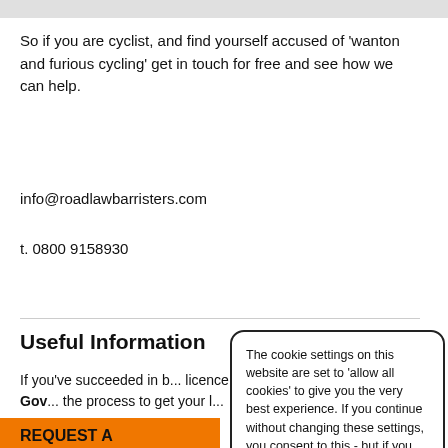So if you are cyclist, and find yourself accused of 'wanton and furious cycling' get in touch for free and see how we can help.
info@roadlawbarristers.com
t. 0800 9158930
Useful Information
If you've succeeded in b... licence back, Direct Gov... the process to get your l...
Previous Posts
The cookie settings on this website are set to 'allow all cookies' to give you the very best experience. If you continue without changing these settings, you consent to this - but if you want, you can change your settings at any time at the bottom of this page. Would you like to change these settings now? Yes please | No thanks
REQUEST A... FOR FREE A...
Your Name